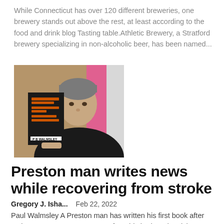While Connecticut has over 120 different breweries, one brewery stands out above the rest, at least according to the food and drink blog Tasting table.Athletic Brewery, a Stratford brewery specializing in non-alcoholic beer, has been named...
[Figure (photo): A man holding a book with a dark cover, standing in front of a pink background. The book spine reads 'P B WALMSLEY'.]
Preston man writes news while recovering from stroke
Gregory J. Isha...   Feb 22, 2022
Paul Walmsley A Preston man has written his first book after major surgery to remove a cyst from his brain. Advertising...